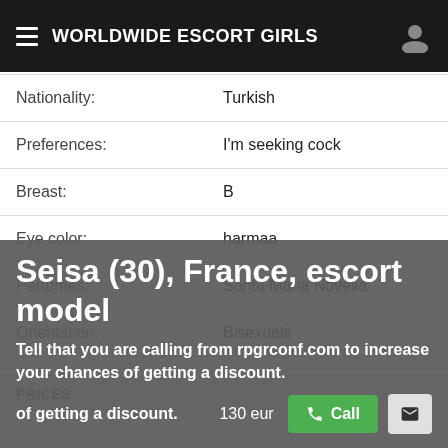WORLDWIDE ESCORT GIRLS
| Field | Value |
| --- | --- |
| Nationality: | Turkish |
| Preferences: | I'm seeking cock |
| Breast: | B |
| Eye color: | harmaa |
| Perfumes: | Santa Maria Novella |
| Orientation: | Bisexuals |
PRICES
Seisa (30), France, escort model
Tell that you are calling from rpgrconf.com to increase your chances of getting a discount.
130 eur